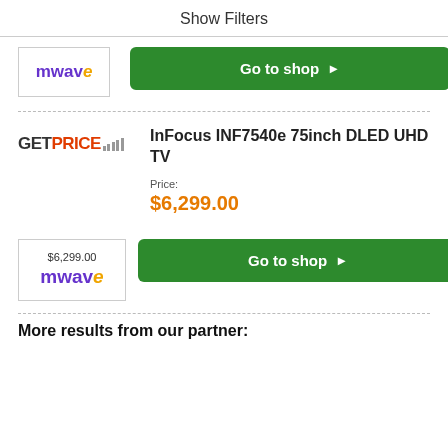Show Filters
[Figure (logo): mwave logo — purple 'mw' and gold italic 'ave']
Go to shop ▶
InFocus INF7540e 75inch DLED UHD TV
Price:
$6,299.00
[Figure (logo): mwave logo with price $6,299.00 above]
Go to shop ▶
More results from our partner: